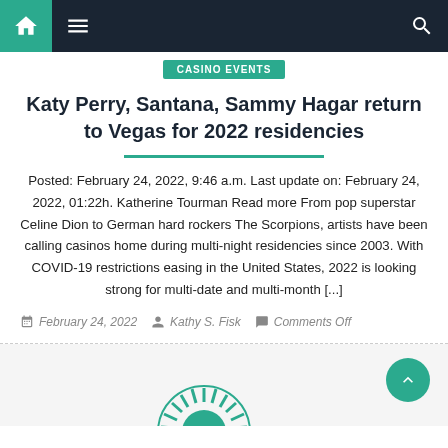Navigation bar with home, menu, and search icons
Casino Events
Katy Perry, Santana, Sammy Hagar return to Vegas for 2022 residencies
Posted: February 24, 2022, 9:46 a.m. Last update on: February 24, 2022, 01:22h. Katherine Tourman Read more From pop superstar Celine Dion to German hard rockers The Scorpions, artists have been calling casinos home during multi-night residencies since 2003. With COVID-19 restrictions easing in the United States, 2022 is looking strong for multi-date and multi-month [...]
February 24, 2022   Kathy S. Fisk   Comments Off
[Figure (logo): Partial circular logo/emblem visible at bottom of page]